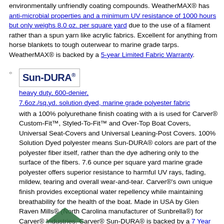environmentally unfriendly coating compounds. WeatherMAX® has anti-microbial properties and a minimum UV resistance of 1000 hours but only weighs 8.0 oz. per square yard due to the use of a filament rather than a spun yarn like acrylic fabrics. Excellent for anything from horse blankets to tough outerwear to marine grade tarps. WeatherMAX® is backed by a 5-year Limited Fabric Warranty.
[Figure (logo): Sun-DURA® logo in dark navy blue text with registered trademark symbol, inside a light gray bordered box]
Sun-DURA® heavy duty, 600-denier, 7.6oz./sq.yd. solution dyed, marine grade polyester fabric with a 100% polyurethane finish coating with a is used for Carver® Custom-Fit™, Styled-To-Fit™ and Over-Top Boat Covers, Universal Seat-Covers and Universal Leaning-Post Covers. 100% Solution Dyed polyester means Sun-DURA® colors are part of the polyester fiber itself, rather than the dye adhering only to the surface of the fibers. 7.6 ounce per square yard marine grade polyester offers superior resistance to harmful UV rays, fading, mildew, tearing and overall wear-and-tear. Carver®'s own unique finish provides exceptional water repellency while maintaining breathability for the health of the boat. Made in USA by Glen Raven Mills® (North Carolina manufacturer of Sunbrella®) for Carver® Industries. Carver® Sun-DURA® is backed by a 7 Year Limited Warranty.